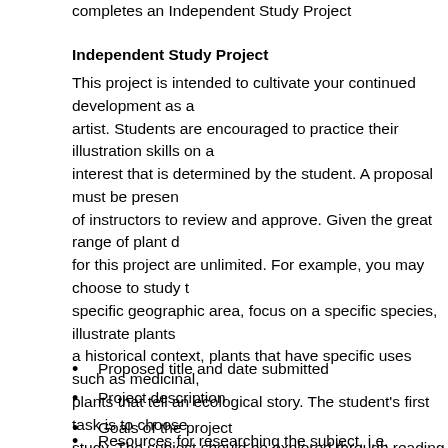completes an Independent Study Project
Independent Study Project
This project is intended to cultivate your continued development as a artist. Students are encouraged to practice their illustration skills on a interest that is determined by the student. A proposal must be present of instructors to review and approve. Given the great range of plant d for this project are unlimited. For example, you may choose to study t specific geographic area, focus on a specific species, illustrate plants a historical context, plants that have specific uses such as medicinal, plants that tell an ecological story. The student's first task is to choose study. The subject should be explored through reading the related lite helpful will be consultation with scholars in the field, if available. Any s information relating to the chosen subject will help develop the projec detailed written proposal for the project, which must include the discip art and science, must be submitted to the director of School. It will be committee of instructors. It should include:
Proposed title and date submitted
Project description
Goals of the project
Resources for researching the subject, i.e. bibliography and